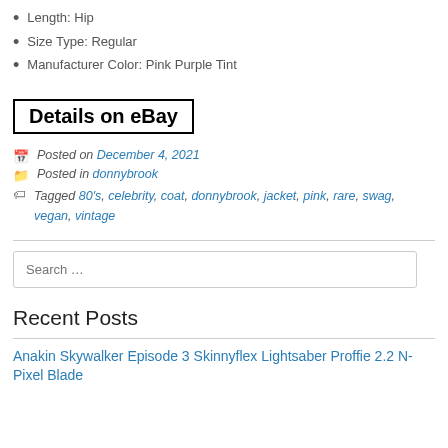Length: Hip
Size Type: Regular
Manufacturer Color: Pink Purple Tint
Details on eBay
Posted on December 4, 2021
Posted in donnybrook
Tagged 80's, celebrity, coat, donnybrook, jacket, pink, rare, swag, vegan, vintage
Search …
Recent Posts
Anakin Skywalker Episode 3 Skinnyflex Lightsaber Proffie 2.2 N-Pixel Blade